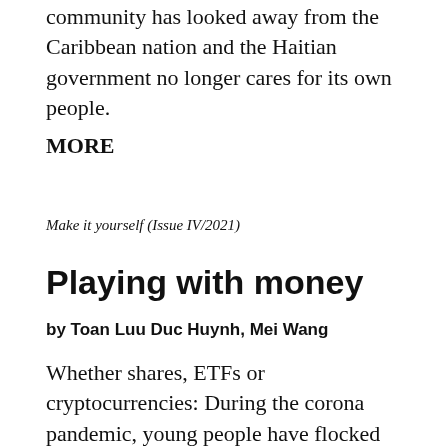community has looked away from the Caribbean nation and the Haitian government no longer cares for its own people.
MORE
Make it yourself (Issue IV/2021)
Playing with money
by Toan Luu Duc Huynh, Mei Wang
Whether shares, ETFs or cryptocurrencies: During the corona pandemic, young people have flocked to investing. Will this lead to a rude awakening - or a secure pension?